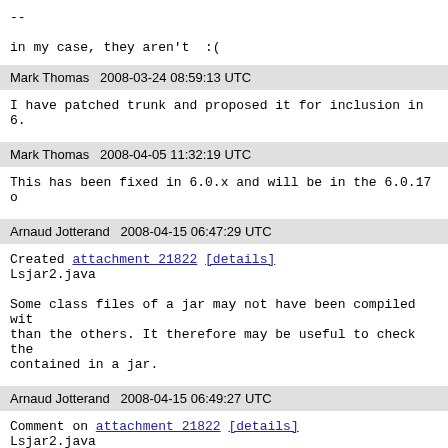--
in my case, they aren't  :(
Mark Thomas   2008-03-24 08:59:13 UTC
I have patched trunk and proposed it for inclusion in 6.
Mark Thomas   2008-04-05 11:32:19 UTC
This has been fixed in 6.0.x and will be in the 6.0.17 o
Arnaud Jotterand   2008-04-15 06:47:29 UTC
Created attachment 21822 [details]
Lsjar2.java

Some class files of a jar may not have been compiled wit
than the others. It therefore may be useful to check the
contained in a jar.
Arnaud Jotterand   2008-04-15 06:49:27 UTC
Comment on attachment 21822 [details]
Lsjar2.java